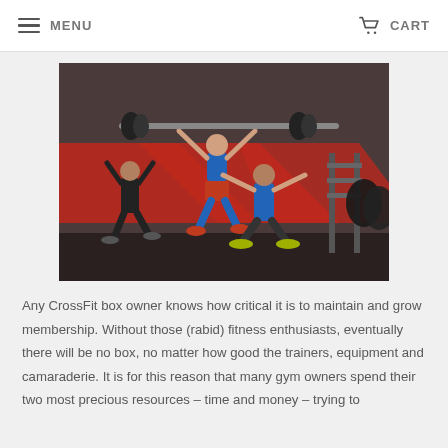MENU   CART
[Figure (photo): Three CrossFit athletes in a gym performing barbell overhead squats. A woman in a blue top and red shorts lifts the barbell overhead, while two men in blue tank tops perform squats. Red chevron branding visible on the wall behind them, with weight plates and equipment visible.]
Any CrossFit box owner knows how critical it is to maintain and grow membership. Without those (rabid) fitness enthusiasts, eventually there will be no box, no matter how good the trainers, equipment and camaraderie. It is for this reason that many gym owners spend their two most precious resources – time and money – trying to